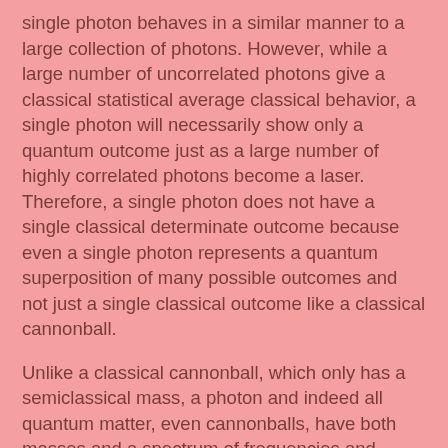single photon behaves in a similar manner to a large collection of photons. However, while a large number of uncorrelated photons give a classical statistical average classical behavior, a single photon will necessarily show only a quantum outcome just as a large number of highly correlated photons become a laser. Therefore, a single photon does not have a single classical determinate outcome because even a single photon represents a quantum superposition of many possible outcomes and not just a single classical outcome like a classical cannonball.
Unlike a classical cannonball, which only has a semiclassical mass, a photon and indeed all quantum matter, even cannonballs, have both masses and a spectrum of frequencies and phases and so no two photons or particles are ever exactly alike. Even though two photons may come from the same source and end up at the same detector, they never have exactly the same spectrum. Therefore, ignoring quantum phase entanglement for any single photon resonator like a double slit or a beam splitter can lead to absurd semiclassical determinate answers instead of uncertain quantum answers.